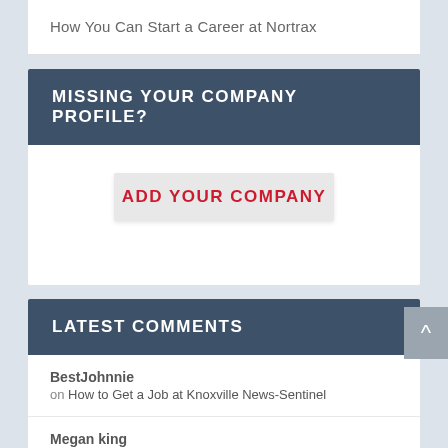How You Can Start a Career at Nortrax
MISSING YOUR COMPANY PROFILE?
ADD YOUR COMPANY
LATEST COMMENTS
BestJohnnie on How to Get a Job at Knoxville News-Sentinel
Megan king on Looking for a Job at Century Plastics?
Kirby E Hoyle